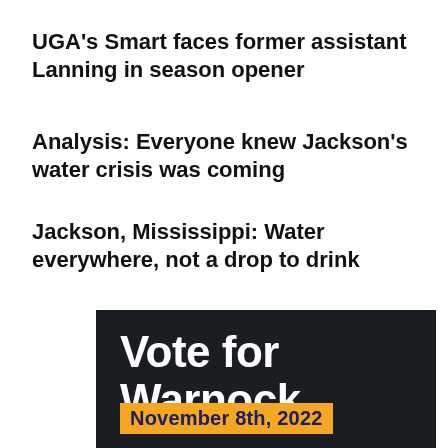UGA's Smart faces former assistant Lanning in season opener
Analysis: Everyone knew Jackson's water crisis was coming
Jackson, Mississippi: Water everywhere, not a drop to drink
[Figure (infographic): Vote for Warnock campaign advertisement with dark background, white bold text reading 'Vote for Warnock' and an orange bar with 'November 8th, 2022' in dark blue text]